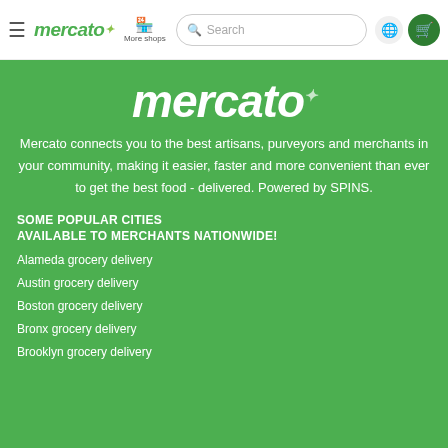mercato | More shops | Search | (globe) | (cart)
[Figure (logo): Mercato logo in large white italic text with small leaf icon above the letter o, on a green background]
Mercato connects you to the best artisans, purveyors and merchants in your community, making it easier, faster and more convenient than ever to get the best food - delivered. Powered by SPINS.
SOME POPULAR CITIES
AVAILABLE TO MERCHANTS NATIONWIDE!
Alameda grocery delivery
Austin grocery delivery
Boston grocery delivery
Bronx grocery delivery
Brooklyn grocery delivery